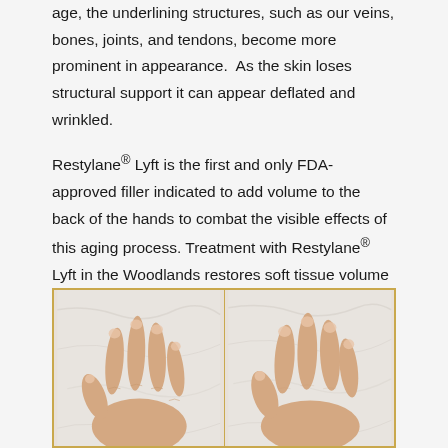age, the underlining structures, such as our veins, bones, joints, and tendons, become more prominent in appearance.  As the skin loses structural support it can appear deflated and wrinkled.
Restylane® Lyft is the first and only FDA-approved filler indicated to add volume to the back of the hands to combat the visible effects of this aging process. Treatment with Restylane® Lyft in the Woodlands restores soft tissue volume under the skin of the back of your hands providing structural support to your skin and improves the cosmetic appearance of your hands.
[Figure (photo): Before and after photo showing two hands (side by side) placed palm-down on a white marble surface, illustrating hand rejuvenation treatment with Restylane Lyft. The image is framed with a gold border.]